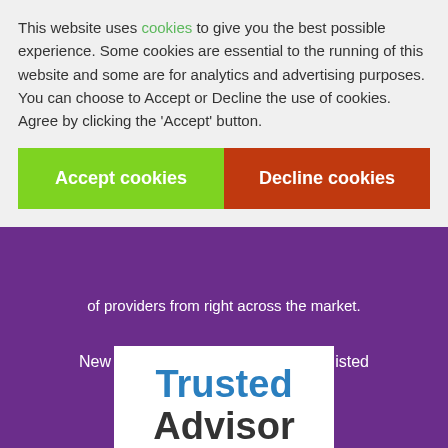This website uses cookies to give you the best possible experience. Some cookies are essential to the running of this website and some are for analytics and advertising purposes. You can choose to Accept or Decline the use of cookies. Agree by clicking the 'Accept' button.
[Figure (screenshot): Two buttons: green 'Accept cookies' button on the left and orange-red 'Decline cookies' button on the right]
of providers from right across the market.
New Star Financial Management is listed on financialbroker.ie
[Figure (logo): White box with 'Trusted Advisor' text, 'Trusted' in blue bold and 'Advisor' in dark grey bold]